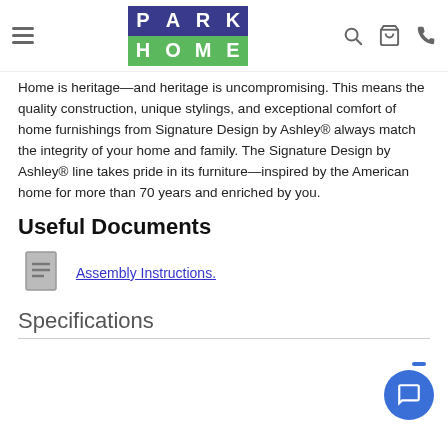Park Home — navigation header with hamburger menu, Park Home logo, search icon, cart icon, phone icon
Home is heritage—and heritage is uncompromising. This means the quality construction, unique stylings, and exceptional comfort of home furnishings from Signature Design by Ashley® always match the integrity of your home and family. The Signature Design by Ashley® line takes pride in its furniture—inspired by the American home for more than 70 years and enriched by you.
Useful Documents
Assembly Instructions.
Specifications